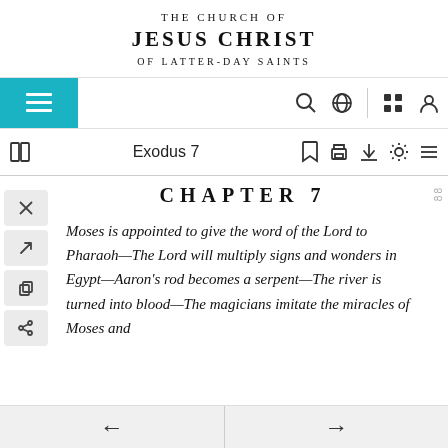[Figure (screenshot): The Church of Jesus Christ of Latter-day Saints logo/header]
[Figure (screenshot): Navigation bar with hamburger menu, search, globe, grid, and account icons]
[Figure (screenshot): Toolbar showing book icon, Exodus 7 title, bookmark, print, download, settings, and list icons]
CHAPTER 7
Moses is appointed to give the word of the Lord to Pharaoh—The Lord will multiply signs and wonders in Egypt—Aaron's rod becomes a serpent—The river is turned into blood—The magicians imitate the miracles of Moses and
[Figure (screenshot): Bottom navigation bar with back and forward arrows]